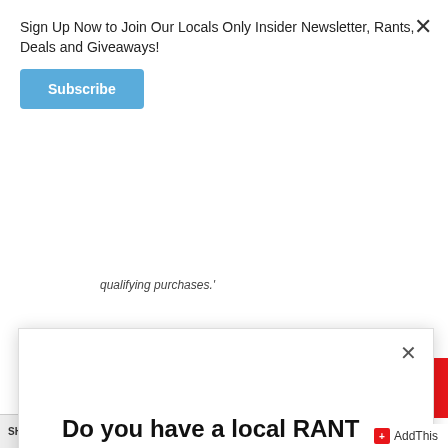Sign Up Now to Join Our Locals Only Insider Newsletter, Rants, Deals and Giveaways!
Subscribe
qualifying purchases.'
[Figure (screenshot): Modal dialog with question 'Do you have a local RANT or NEWS to share?' with two buttons: 'Yes please!' (dark gray) and 'No, thanks!' (light gray). Has a close X button in top right.]
Do you have a local RANT or NEWS to share?
Yes please!
No, thanks!
AddThis